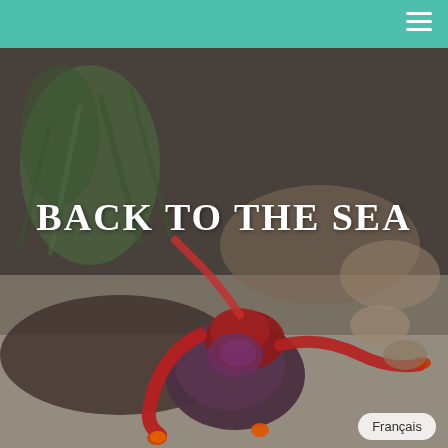[Figure (photo): A close-up hero image of a red hermit crab partially out of its shell on a sandy beach surface, surrounded by shells, seaweed, and coastal debris. The image has a dark, muted tone with the title text overlaid.]
BACK TO THE SEA
Français